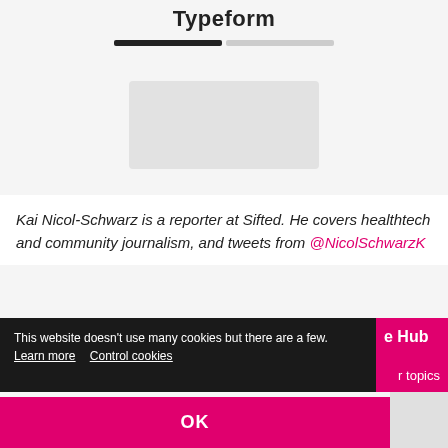Typeform
[Figure (other): Progress bar showing partial completion, with dark filled left half and light gray right half]
[Figure (other): Typeform survey form area with a placeholder input/content box]
Kai Nicol-Schwarz is a reporter at Sifted. He covers healthtech and community journalism, and tweets from @NicolSchwarzK
This website doesn't use many cookies but there are a few. Learn more  Control cookies
OK